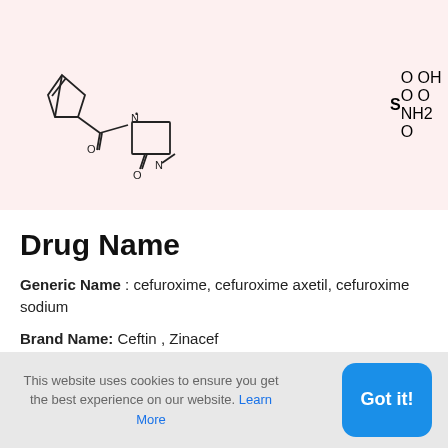[Figure (schematic): Chemical structure diagram of cefuroxime on a light pink background, showing the molecular structure with labeled atoms including N, S, O, OH, and NH2 groups.]
Drug Name
Generic Name : cefuroxime, cefuroxime axetil, cefuroxime sodium
Brand Name: Ceftin , Zinacef
Classification: Antibiotic. Cephalosporin (second
This website uses cookies to ensure you get the best experience on our website. Learn More